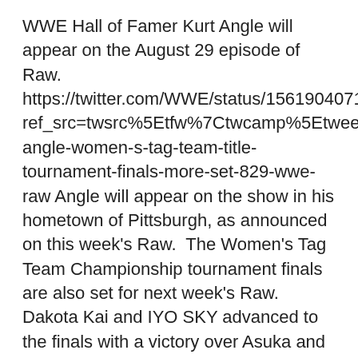WWE Hall of Famer Kurt Angle will appear on the August 29 episode of Raw. https://twitter.com/WWE/status/1561904071912685575?ref_src=twsrc%5Etfw%7Ctwcamp%5Etweetembed%7Ctwterm%5E1561904071912685575%7Ctwgr%5E5ce60c1bf4fd097bf04a02dafcb6b42770f0440f%7Ctwcon%5Es1_c10&ref_url=https%3A%2F%2Fwww.fightful.com%2Fwrestling%2Fkurt-angle-women-s-tag-team-title-tournament-finals-more-set-829-wwe-raw Angle will appear on the show in his hometown of Pittsburgh, as announced on this week's Raw.  The Women's Tag Team Championship tournament finals are also set for next week's Raw. Dakota Kai and IYO SKY advanced to the finals with a victory over Asuka and Alexa Bliss this week. They now await the